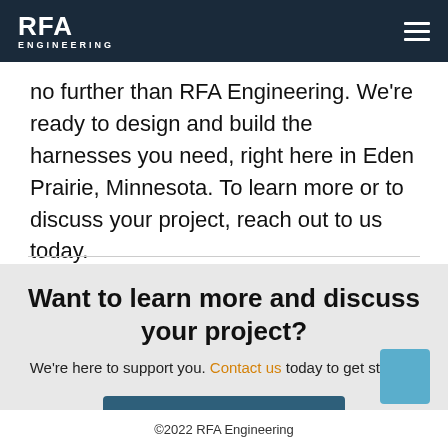RFA Engineering
no further than RFA Engineering. We're ready to design and build the harnesses you need, right here in Eden Prairie, Minnesota. To learn more or to discuss your project, reach out to us today.
Want to learn more and discuss your project?
We're here to support you. Contact us today to get started.
CONTACT RFA
©2022 RFA Engineering